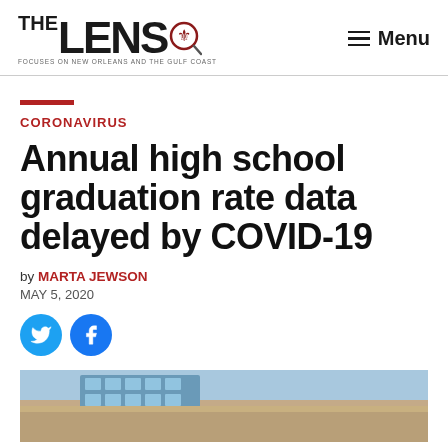THE LENS — FOCUSES ON NEW ORLEANS AND THE GULF COAST | Menu
CORONAVIRUS
Annual high school graduation rate data delayed by COVID-19
by MARTA JEWSON
MAY 5, 2020
[Figure (photo): Exterior of a school building with blue sky background]